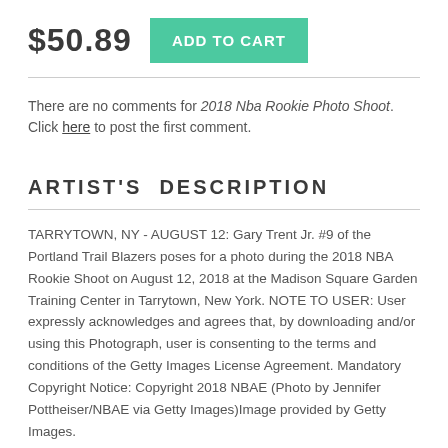$50.89  ADD TO CART
There are no comments for 2018 Nba Rookie Photo Shoot.   Click here to post the first comment.
ARTIST'S DESCRIPTION
TARRYTOWN, NY - AUGUST 12: Gary Trent Jr. #9 of the Portland Trail Blazers poses for a photo during the 2018 NBA Rookie Shoot on August 12, 2018 at the Madison Square Garden Training Center in Tarrytown, New York. NOTE TO USER: User expressly acknowledges and agrees that, by downloading and/or using this Photograph, user is consenting to the terms and conditions of the Getty Images License Agreement. Mandatory Copyright Notice: Copyright 2018 NBAE (Photo by Jennifer Pottheiser/NBAE via Getty Images)Image provided by Getty Images.